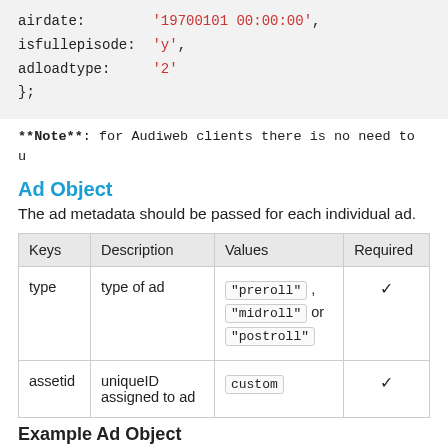airdate:        '19700101 00:00:00',
isfullepisode:  'y',
adloadtype:     '2'
};
**Note**: for Audiweb clients there is no need to u
Ad Object
The ad metadata should be passed for each individual ad.
| Keys | Description | Values | Required |
| --- | --- | --- | --- |
| type | type of ad | "preroll", "midroll" or "postroll" | ✓ |
| assetid | uniqueID assigned to ad | custom | ✓ |
Example Ad Object